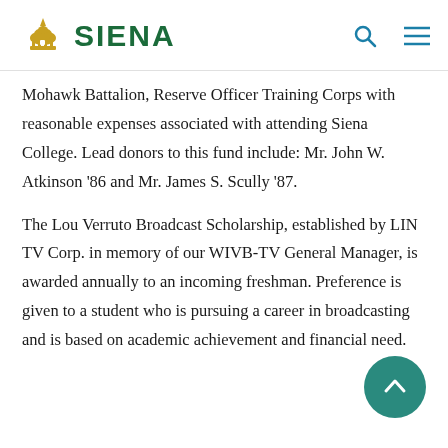SIENA
Mohawk Battalion, Reserve Officer Training Corps with reasonable expenses associated with attending Siena College. Lead donors to this fund include: Mr. John W. Atkinson '86 and Mr. James S. Scully '87.
The Lou Verruto Broadcast Scholarship, established by LIN TV Corp. in memory of our WIVB-TV General Manager, is awarded annually to an incoming freshman. Preference is given to a student who is pursuing a career in broadcasting and is based on academic achievement and financial need.